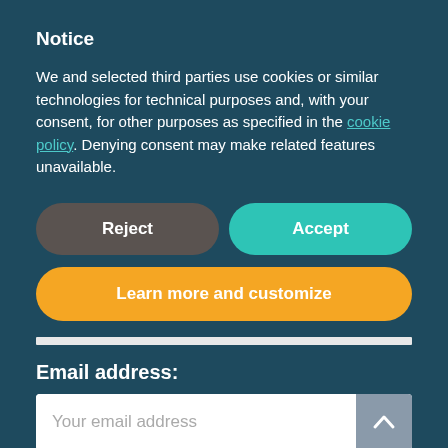Notice
We and selected third parties use cookies or similar technologies for technical purposes and, with your consent, for other purposes as specified in the cookie policy. Denying consent may make related features unavailable.
[Figure (screenshot): Two buttons side by side: 'Reject' (dark grey, rounded) and 'Accept' (teal, rounded)]
[Figure (screenshot): Orange rounded button labeled 'Learn more and customize']
[Figure (screenshot): Light grey horizontal divider bar]
Email address:
[Figure (screenshot): Email input field with placeholder 'Your email address' and a scroll-up arrow button on the right]
I have read and agree to the terms &